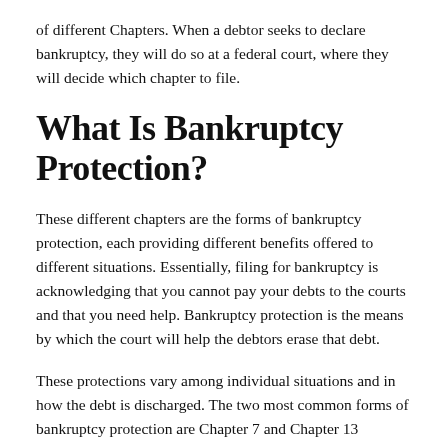of different Chapters. When a debtor seeks to declare bankruptcy, they will do so at a federal court, where they will decide which chapter to file.
What Is Bankruptcy Protection?
These different chapters are the forms of bankruptcy protection, each providing different benefits offered to different situations. Essentially, filing for bankruptcy is acknowledging that you cannot pay your debts to the courts and that you need help. Bankruptcy protection is the means by which the court will help the debtors erase that debt.
These protections vary among individual situations and in how the debt is discharged. The two most common forms of bankruptcy protection are Chapter 7 and Chapter 13 bankruptcy. With Chapter 7, debtors liquidate their assets to discharge their debt. With Chapter 13, debtors are put